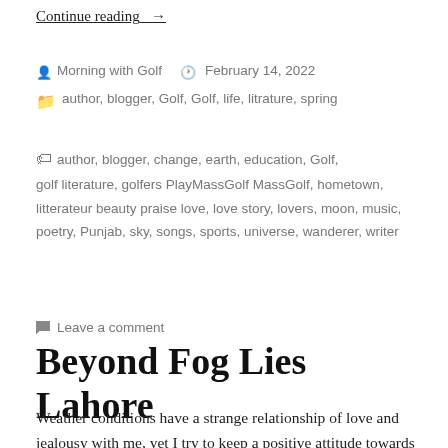Continue reading_ →
Morning with Golf   February 14, 2022
author, blogger, Golf, Golf, life, litrature, spring
author, blogger, change, earth, education, Golf, golf literature, golfers PlayMassGolf MassGolf, hometown, litterateur beauty praise love, love story, lovers, moon, music, poetry, Punjab, sky, songs, sports, universe, wanderer, writer
Leave a comment
Beyond Fog Lies Lahore
Weather conditions have a strange relationship of love and jealousy with me, yet I try to keep a positive attitude towards them. Through most of my trip to the